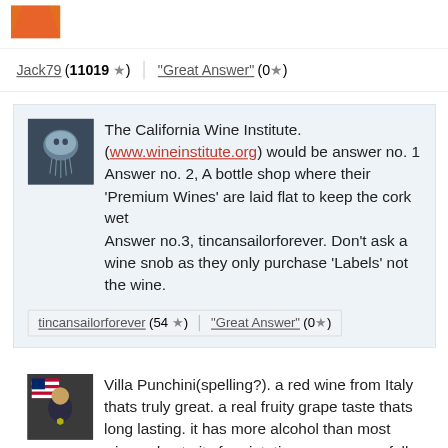Jack79 (11019 ★) | "Great Answer" (0★)
The California Wine Institute. (www.wineinstitute.org) would be answer no. 1
Answer no. 2, A bottle shop where their 'Premium Wines' are laid flat to keep the cork wet
Answer no.3, tincansailorforever. Don't ask a wine snob as they only purchase 'Labels' not the wine.
tincansailorforever (54★) | "Great Answer" (0★)
Villa Punchini(spelling?). a red wine from Italy thats truly great. a real fruity grape taste thats long lasting. it has more alcohol than most wines, due to its fermintation process. we fell in love with this wine in Italy, while on vacation. we feel in love with lots of wine, while in Italy. use caution. this wine will give you a buzz really quick.
john65pennington (29253★) | "Great Answer" (0★